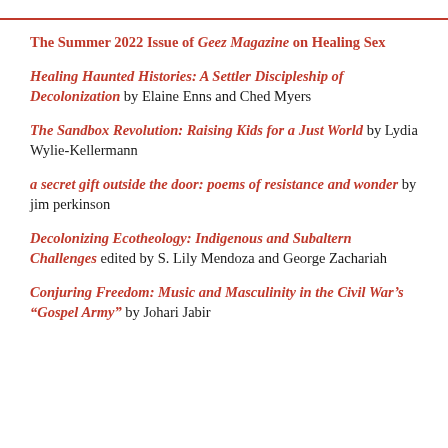The Summer 2022 Issue of Geez Magazine on Healing Sex
Healing Haunted Histories: A Settler Discipleship of Decolonization by Elaine Enns and Ched Myers
The Sandbox Revolution: Raising Kids for a Just World by Lydia Wylie-Kellermann
a secret gift outside the door: poems of resistance and wonder by jim perkinson
Decolonizing Ecotheology: Indigenous and Subaltern Challenges edited by S. Lily Mendoza and George Zachariah
Conjuring Freedom: Music and Masculinity in the Civil War's "Gospel Army" by Johari Jabir